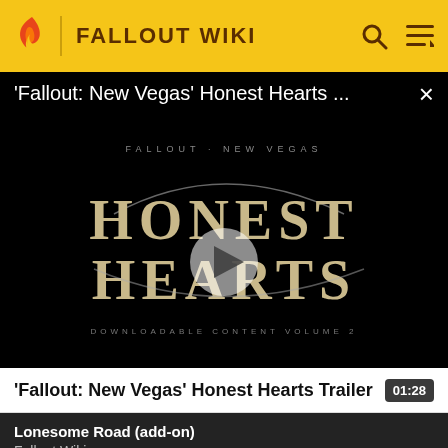FALLOUT WIKI
'Fallout: New Vegas' Honest Hearts ...
[Figure (screenshot): Fallout: New Vegas Honest Hearts DLC logo on black background with play button overlay. Shows 'HONEST HEARTS' in large stylized text and 'DOWNLOADABLE CONTENT VOLUME 2' at the bottom.]
'Fallout: New Vegas' Honest Hearts Trailer  01:28
Lonesome Road (add-on)
Fallout Wiki
[Figure (screenshot): Dark atmospheric image strip at the bottom of the page]